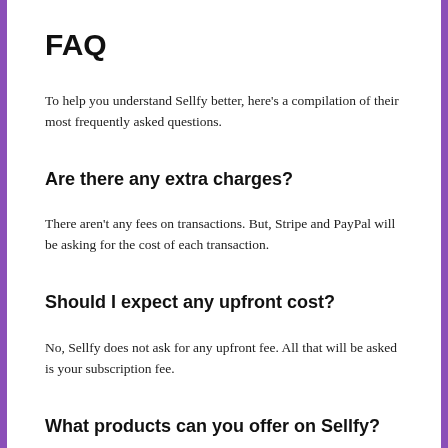FAQ
To help you understand Sellfy better, here's a compilation of their most frequently asked questions.
Are there any extra charges?
There aren't any fees on transactions. But, Stripe and PayPal will be asking for the cost of each transaction.
Should I expect any upfront cost?
No, Sellfy does not ask for any upfront fee. All that will be asked is your subscription fee.
What products can you offer on Sellfy?
You can sell digital products as well as physical items, and any